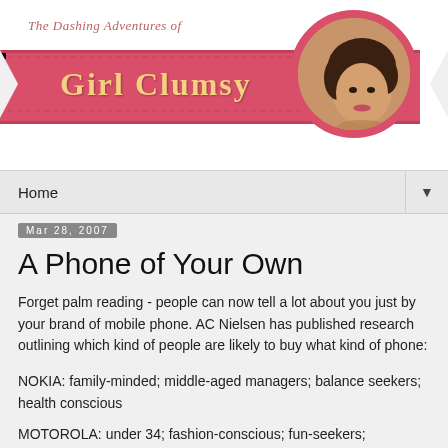The Dashing Adventures of Girl Clumsy
[Figure (illustration): Blog header with pink ribbon banner reading 'Girl Clumsy' in bold yellow text, script text 'The Dashing Adventures of' above, and a circular portrait photo of a woman on the right side with pink border]
Home
Mar 28, 2007
A Phone of Your Own
Forget palm reading - people can now tell a lot about you just by your brand of mobile phone. AC Nielsen has published research outlining which kind of people are likely to buy what kind of phone:
NOKIA: family-minded; middle-aged managers; balance seekers; health conscious
MOTOROLA: under 34; fashion-conscious; fun-seekers;